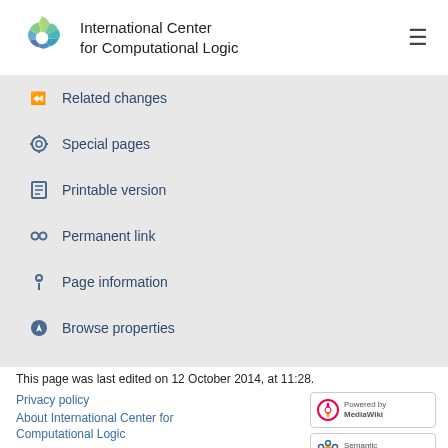International Center for Computational Logic
Related changes
Special pages
Printable version
Permanent link
Page information
Browse properties
This page was last edited on 12 October 2014, at 11:28.
Privacy policy
About International Center for Computational Logic
Disclaimers  Accessibility